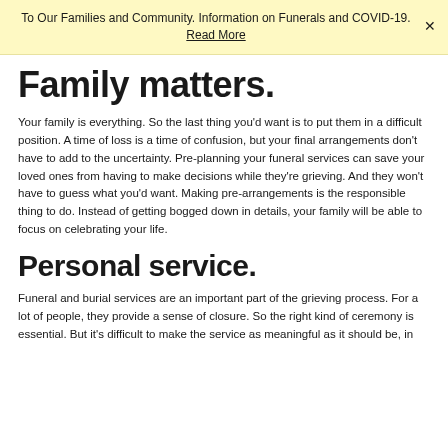To Our Families and Community. Information on Funerals and COVID-19. Read More
Family matters.
Your family is everything. So the last thing you'd want is to put them in a difficult position. A time of loss is a time of confusion, but your final arrangements don't have to add to the uncertainty. Pre-planning your funeral services can save your loved ones from having to make decisions while they're grieving. And they won't have to guess what you'd want. Making pre-arrangements is the responsible thing to do. Instead of getting bogged down in details, your family will be able to focus on celebrating your life.
Personal service.
Funeral and burial services are an important part of the grieving process. For a lot of people, they provide a sense of closure. So the right kind of ceremony is essential. But it's difficult to make the service as meaningful as it should be, in